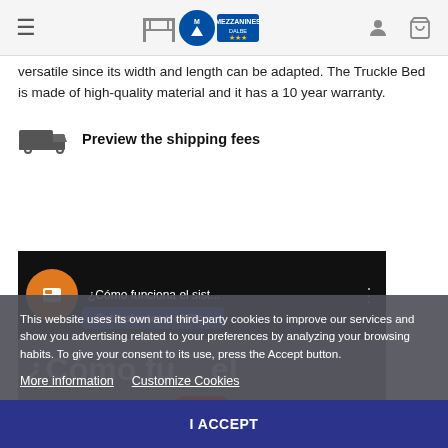Mezzanines Dalbe – navigation bar with menu, logo, user, and cart icons
versatile since its width and length can be adapted. The Truckle Bed is made of high-quality material and it has a 10 year warranty.
Preview the shipping fees
[Figure (screenshot): YouTube video thumbnail showing '¿Cómo funciona el sist...' with channel icon (orange circle with T), 'Entreplantas y altillos' badge, large text '¿Cómo fu... el' in white on grey background, YouTube play button overlay, and YouTube logo.]
This website uses its own and third-party cookies to improve our services and show you advertising related to your preferences by analyzing your browsing habits. To give your consent to its use, press the Accept button.
More information   Customize Cookies
I ACCEPT